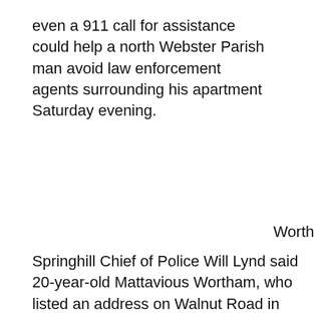even a 911 call for assistance could help a north Webster Parish man avoid law enforcement agents surrounding his apartment Saturday evening.
Worthham
Springhill Chief of Police Will Lynd said 20-year-old Mattavious Wortham, who listed an address on Walnut Road in Springhill was captured without incident, but the